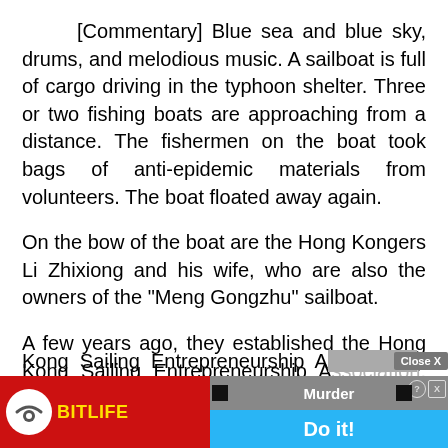[Commentary] Blue sea and blue sky, drums, and melodious music. A sailboat is full of cargo driving in the typhoon shelter. Three or two fishing boats are approaching from a distance. The fishermen on the boat took bags of anti-epidemic materials from volunteers. The boat floated away again.
On the bow of the boat are the Hong Kongers Li Zhixiong and his wife, who are also the owners of the "Meng Gongzhu" sailboat.
A few years ago, they established the Hong Kong Sailing Entrepreneurship Association, which ... e into
[Figure (screenshot): Two overlapping advertisement banners at the bottom of the page. Left ad: BitLife game ad with red background, white circle icon with sperm-like logo, yellow 'BitLiFE' text. Right ad: 'Murder Do it!' game ad with grey top portion showing 'Murder' text and 'Close X' button, blue bottom portion with 'Do it!' text in white.]